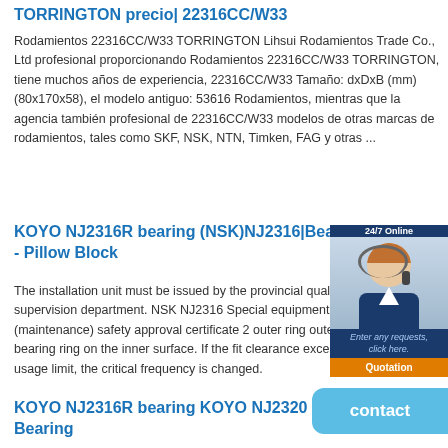TORRINGTON precio| 22316CC/W33
Rodamientos 22316CC/W33 TORRINGTON Lihsui Rodamientos Trade Co., Ltd profesional proporcionando Rodamientos 22316CC/W33 TORRINGTON, tiene muchos años de experiencia, 22316CC/W33 Tamaño: dxDxB (mm) (80x170x58), el modelo antiguo: 53616 Rodamientos, mientras que la agencia también profesional de 22316CC/W33 modelos de otras marcas de rodamientos, tales como SKF, NSK, NTN, Timken, FAG y otras ...
KOYO NJ2316R bearing (NSK)NJ2316|Bearings - Needle B - Pillow Block
The installation unit must be issued by the provincial quality and techn supervision department. NSK NJ2316 Special equipment installation (maintenance) safety approval certificate 2 outer ring outer ring racew bearing ring on the inner surface. If the fit clearance exceeds the specified usage limit, the critical frequency is changed.
[Figure (photo): Customer service representative with headset, 24/7 Online badge, Enter any requests click here tagline, and Quotation button]
KOYO NJ2316R bearing KOYO NJ2320 (Karachi) | KOYO NJ2320 Bearing
Koyo NJ2316R bearing - services.mochasuite.com . KOYO bearing comapny was established in 1921 in Japan stands for the development and manufacture of needle bearing. 30203JR KOYO bearing is widely used in engines Human services...
[Figure (other): Contact button (light blue rounded rectangle)]